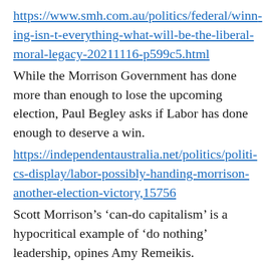https://www.smh.com.au/politics/federal/winning-isn-t-everything-what-will-be-the-liberal-moral-legacy-20211116-p599c5.html
While the Morrison Government has done more than enough to lose the upcoming election, Paul Begley asks if Labor has done enough to deserve a win.
https://independentaustralia.net/politics/politics-display/labor-possibly-handing-morrison-another-election-victory,15756
Scott Morrison’s ‘can-do capitalism’ is a hypocritical example of ‘do nothing’ leadership, opines Amy Remeikis.
https://www.theguardian.com/australia-news/commentisfree/2021/nov/17/scott-morrisons-can-do-capitalism-is-a-